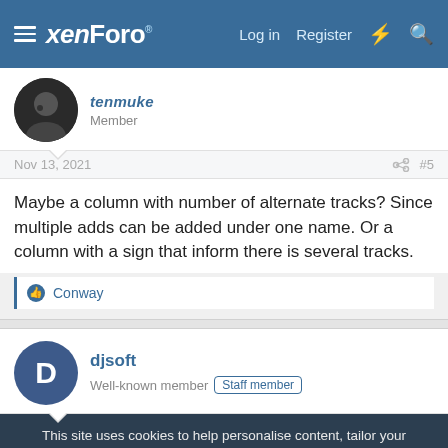xenForo | Log in | Register
tenmuke
Member
Nov 13, 2021   #5
Maybe a column with number of alternate tracks? Since multiple adds can be added under one name. Or a column with a sign that inform there is several tracks.
Conway
djsoft
Well-known member  Staff member
This site uses cookies to help personalise content, tailor your experience and to keep you logged in if you register.
By continuing to use this site, you are consenting to our use of cookies.
Accept   Learn more...